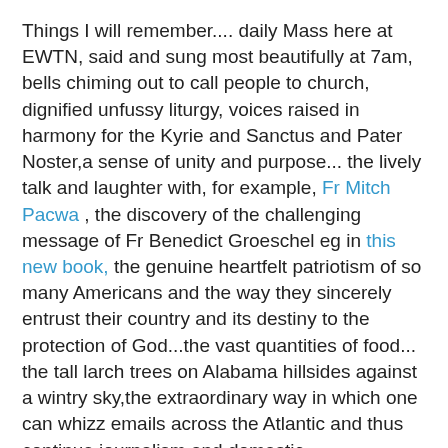Things I will remember.... daily Mass here at EWTN, said and sung most beautifully at 7am, bells chiming out to call people to church, dignified unfussy liturgy, voices raised in harmony for the Kyrie and Sanctus and Pater Noster,a sense of unity and purpose... the lively talk and laughter with, for example, Fr Mitch Pacwa , the discovery of the challenging message of Fr Benedict Groeschel eg in this new book, the genuine heartfelt patriotism of so many Americans and the way they sincerely entrust their country and its destiny to the protection of God...the vast quantities of food... the tall larch trees on Alabama hillsides against a wintry sky,the extraordinary way in which one can whizz emails across the Atlantic and thus continue journalism and domestic responsibilities from a great distance in a way unthinkable half a decade ago...
Discoveries about EWTN: the young Friars at the monastery - Franciscan Missionaries of the Eternal Word average age about 34, cheerful, dedicated, enthusiastic...could they set up a group in Britain, please? Also: the superb standards of craftmanship in the sets and props department with top-quality woodwork and detailed historical and other research...